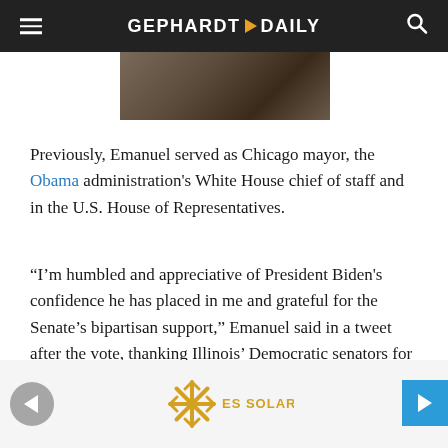GEPHARDT DAILY
[Figure (photo): Partial photo of a person, cropped at top]
Previously, Emanuel served as Chicago mayor, the Obama administration's White House chief of staff and in the U.S. House of Representatives.
“I’m humbled and appreciative of President Biden's confidence he has placed in me and grateful for the Senate’s bipartisan support,” Emanuel said in a tweet after the vote, thanking Illinois’ Democratic senators for their support. “Our 60-year-old alliance with Japan promotes peace and prosperity.”
[Figure (logo): ES SOLAR logo with asterisk/snowflake style icon in gold/yellow]